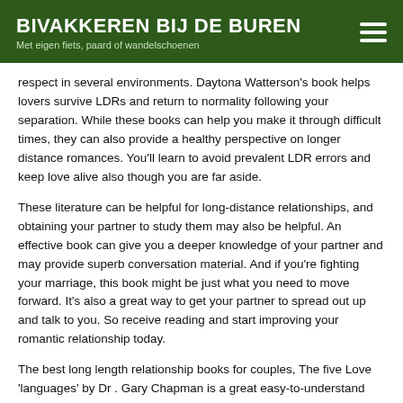BIVAKKEREN BIJ DE BUREN
Met eigen fiets, paard of wandelschoenen
respect in several environments. Daytona Watterson's book helps lovers survive LDRs and return to normality following your separation. While these books can help you make it through difficult times, they can also provide a healthy perspective on longer distance romances. You'll learn to avoid prevalent LDR errors and keep love alive also though you are far aside.
These literature can be helpful for long-distance relationships, and obtaining your partner to study them may also be helpful. An effective book can give you a deeper knowledge of your partner and may provide superb conversation material. And if you're fighting your marriage, this book might be just what you need to move forward. It's also a great way to get your partner to spread out up and talk to you. So receive reading and start improving your romantic relationship today.
The best long length relationship books for couples, The five Love 'languages' by Dr . Gary Chapman is a great easy-to-understand tips for building and maintaining profound relationships. Doctor Chapman possesses compiled an array of advice for the purpose of modern charming associations, which is specifically applicable to long range